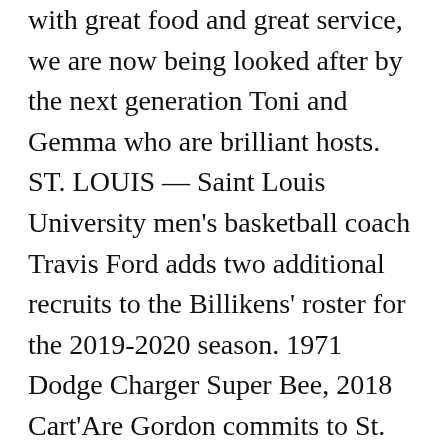with great food and great service, we are now being looked after by the next generation Toni and Gemma who are brilliant hosts. ST. LOUIS — Saint Louis University men's basketball coach Travis Ford adds two additional recruits to the Billikens' roster for the 2019-2020 season. 1971 Dodge Charger Super Bee, 2018 Cart'Are Gordon commits to St. Louis. With only Tay Weaver graduating, and Madani Diarra and KC Hankton transferring after receiving little to no time on the court this past season, have its most talented roster since Rick Majerus led the program. The 6-footer from St. Mary's High has lowered his turnover average to 1.2, albeit in a small sampling of games. Saint Louis Basketball